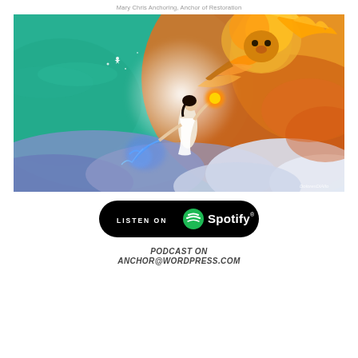Mary Chris Anchoring, Anchor of Restoration
[Figure (illustration): Fantasy digital illustration showing a woman in white dress surrounded by blue lightning energy reaching up toward a golden lion with flaming mane in an orange fire cloud, set against a teal/green cosmic nebula background with purple and white clouds below. Artist signature 'DoloresDiAllo' in bottom right corner.]
[Figure (logo): Listen on Spotify button - black rounded rectangle badge with Spotify logo and text]
PODCAST ON
ANCHOR@WORDPRESS.COM